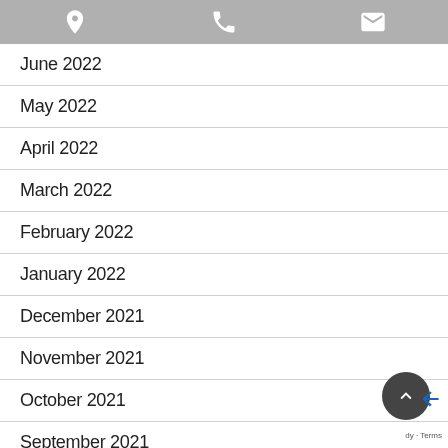location | phone | mail icons
June 2022
May 2022
April 2022
March 2022
February 2022
January 2022
December 2021
November 2021
October 2021
September 2021
August 2021